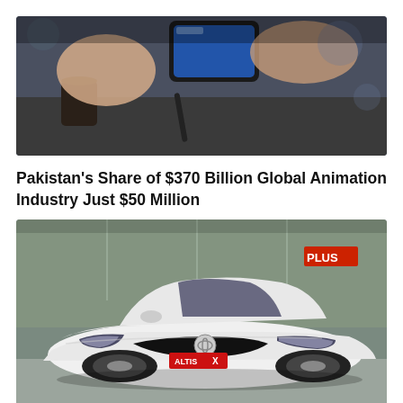[Figure (photo): A person holding a smartphone, photographing something on a table. A decorative cup and a stylus/pen are visible in the background. Dark moody lighting.]
Pakistan's Share of $370 Billion Global Animation Industry Just $50 Million
[Figure (photo): A white Toyota Corolla X sedan parked indoors, likely in a showroom. The car faces slightly left, showing its front and driver side. Store fronts visible in the background.]